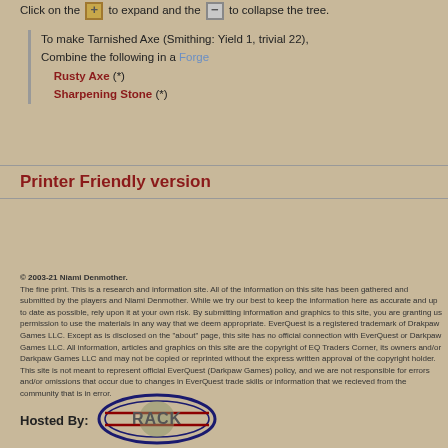Click on the [+] to expand and the [-] to collapse the tree.
To make Tarnished Axe (Smithing: Yield 1, trivial 22), Combine the following in a Forge
    Rusty Axe (*)
    Sharpening Stone (*)
Printer Friendly version
© 2003-21 Niami Denmother. The fine print. This is a research and information site. All of the information on this site has been gathered and submitted by the players and Niami Denmother. While we try our best to keep the information here as accurate and up to date as possible, rely upon it at your own risk. By submitting information and graphics to this site, you are granting us permission to use the materials in any way that we deem appropriate. EverQuest is a registered trademark of Drakpaw Games LLC. Except as is disclosed on the "about" page, this site has no official connection with EverQuest or Darkpaw Games LLC. All information, articles and graphics on this site are the copyright of EQ Traders Corner, its owners and/or Darkpaw Games LLC and may not be copied or reprinted without the express written approval of the copyright holder. This site is not meant to represent official EverQuest (Darkpaw Games) policy, and we are not responsible for errors and/or omissions that occur due to changes in EverQuest trade skills or information that we recieved from the community that is in error.
Hosted By:
[Figure (logo): RACK logo - oval shaped logo with the word RACK in large letters]